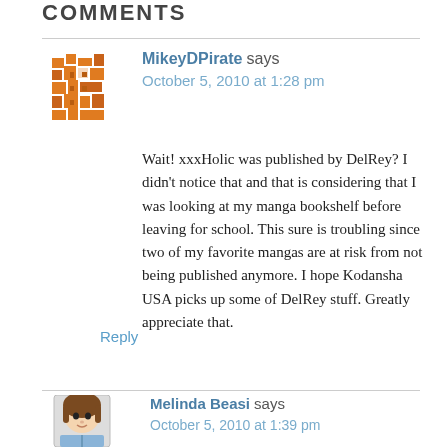COMMENTS
MikeyDPirate says
October 5, 2010 at 1:28 pm

Wait! xxxHolic was published by DelRey? I didn't notice that and that is considering that I was looking at my manga bookshelf before leaving for school. This sure is troubling since two of my favorite mangas are at risk from not being published anymore. I hope Kodansha USA picks up some of DelRey stuff. Greatly appreciate that.
Reply
Melinda Beasi says
October 5, 2010 at 1:39 pm